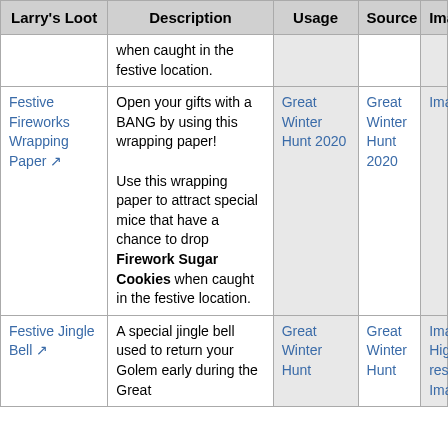| Larry's Loot | Description | Usage | Source | Imag |
| --- | --- | --- | --- | --- |
|  | when caught in the festive location. |  |  |  |
| Festive Fireworks Wrapping Paper | Open your gifts with a BANG by using this wrapping paper!
Use this wrapping paper to attract special mice that have a chance to drop Firework Sugar Cookies when caught in the festive location. | Great Winter Hunt 2020 | Great Winter Hunt 2020 | Imag |
| Festive Jingle Bell | A special jingle bell used to return your Golem early during the Great | Great Winter Hunt | Great Winter Hunt | Imag High-resol Imag |